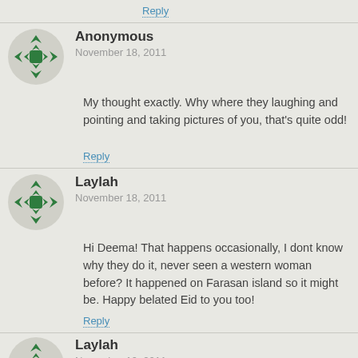Reply
Anonymous
November 18, 2011
My thought exactly. Why where they laughing and pointing and taking pictures of you, that's quite odd!
Reply
Laylah
November 18, 2011
Hi Deema! That happens occasionally, I dont know why they do it, never seen a western woman before? It happened on Farasan island so it might be. Happy belated Eid to you too!
Reply
Laylah
November 19, 2011
GawiusCurl I don't look the same as then might be